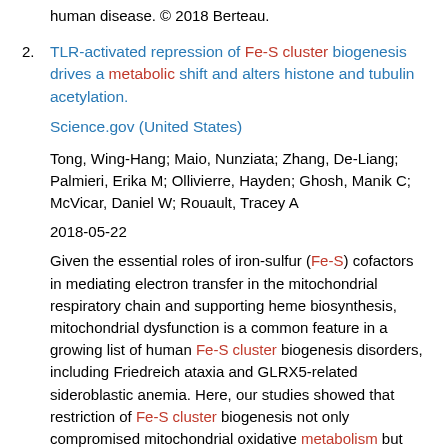human disease. © 2018 Berteau.
2. TLR-activated repression of Fe-S cluster biogenesis drives a metabolic shift and alters histone and tubulin acetylation.
Science.gov (United States)
Tong, Wing-Hang; Maio, Nunziata; Zhang, De-Liang; Palmieri, Erika M; Ollivierre, Hayden; Ghosh, Manik C; McVicar, Daniel W; Rouault, Tracey A
2018-05-22
Given the essential roles of iron-sulfur (Fe-S) cofactors in mediating electron transfer in the mitochondrial respiratory chain and supporting heme biosynthesis, mitochondrial dysfunction is a common feature in a growing list of human Fe-S cluster biogenesis disorders, including Friedreich ataxia and GLRX5-related sideroblastic anemia. Here, our studies showed that restriction of Fe-S cluster biogenesis not only compromised mitochondrial oxidative metabolism but also resulted in decreased overall histone acetylation and increased H3K9me3 levels in the nucleus and increased acetylation of ±-tubulin in the cytosol by decreasing the lipoylation of the pyruvate